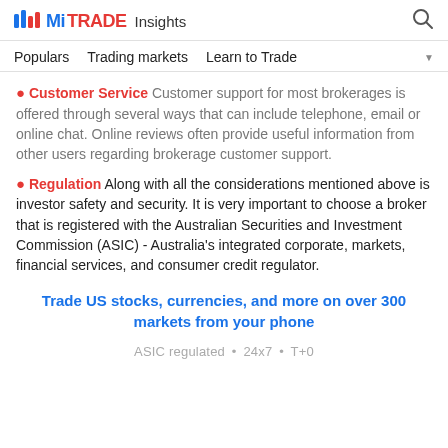MiTRADE Insights
Populars  Trading markets  Learn to Trade
• Customer Service  Customer support for most brokerages is offered through several ways that can include telephone, email or online chat. Online reviews often provide useful information from other users regarding brokerage customer support.
• Regulation  Along with all the considerations mentioned above is investor safety and security. It is very important to choose a broker that is registered with the Australian Securities and Investment Commission (ASIC) - Australia's integrated corporate, markets, financial services, and consumer credit regulator.
Trade US stocks, currencies, and more on over 300 markets from your phone
ASIC regulated  •  24x7  •  T+0